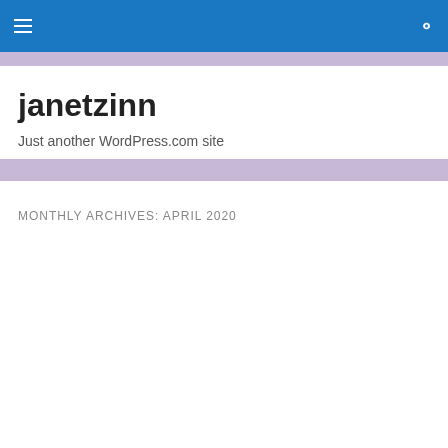janetzinn navigation header
janetzinn
Just another WordPress.com site
MONTHLY ARCHIVES: APRIL 2020